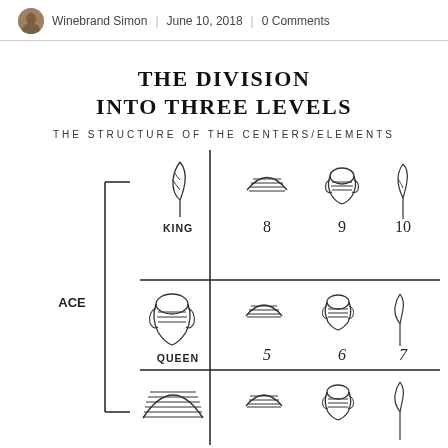Winebrand Simon | June 10, 2018 | 0 Comments
THE DIVISION INTO THREE LEVELS
THE STRUCTURE OF THE CENTERS/ELEMENTS
[Figure (schematic): A diagram showing a division into three levels (King, Queen, and a third bottom level) with Egyptian/hieroglyphic symbols for cards or elements numbered 5 through 10. Left side shows bracket labeled ACE. Vertical and horizontal lines divide the grid into sections. Each section contains a hieroglyphic-style symbol above its number label.]